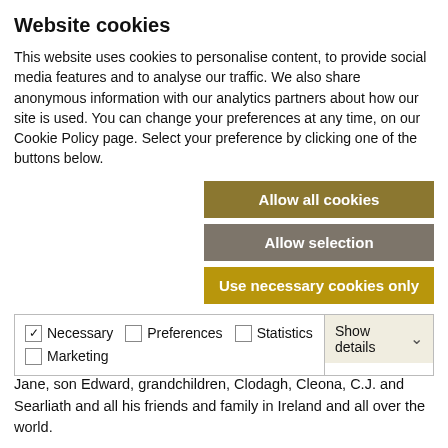Website cookies
This website uses cookies to personalise content, to provide social media features and to analyse our traffic. We also share anonymous information with our analytics partners about how our site is used. You can change your preferences at any time, on our Cookie Policy page. Select your preference by clicking one of the buttons below.
Allow all cookies
Allow selection
Use necessary cookies only
| ✓ Necessary | ☐ Preferences | ☐ Statistics | Show details ∨ |
| ☐ Marketing |  |  |  |
sisters Avril and Nicola, brother James in New York, daughter Jane, son Edward, grandchildren, Clodagh, Cleona, C.J. and Searliath and all his friends and family in Ireland and all over the world.
Rest In Peace.
Reposing at the family home at Creevymore with removal on Saturday morning to St. Molaise's Church, Cliffoney, arriving for 12 noon Funeral Mass. Burial afterwards in Rathcormac Cemetery. Due to Covid restrictions, the family home,